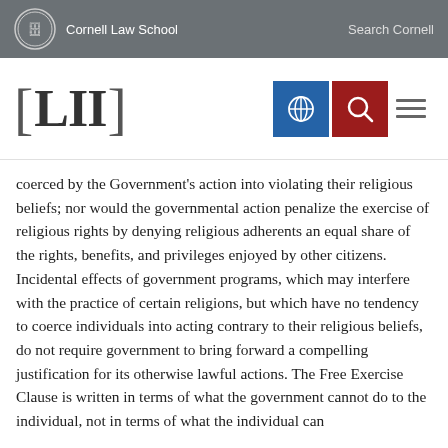Cornell Law School — Search Cornell
[Figure (logo): LII Legal Information Institute logo with navigation icons (globe, search, hamburger menu)]
coerced by the Government's action into violating their religious beliefs; nor would the governmental action penalize the exercise of religious rights by denying religious adherents an equal share of the rights, benefits, and privileges enjoyed by other citizens. Incidental effects of government programs, which may interfere with the practice of certain religions, but which have no tendency to coerce individuals into acting contrary to their religious beliefs, do not require government to bring forward a compelling justification for its otherwise lawful actions. The Free Exercise Clause is written in terms of what the government cannot do to the individual, not in terms of what the individual can